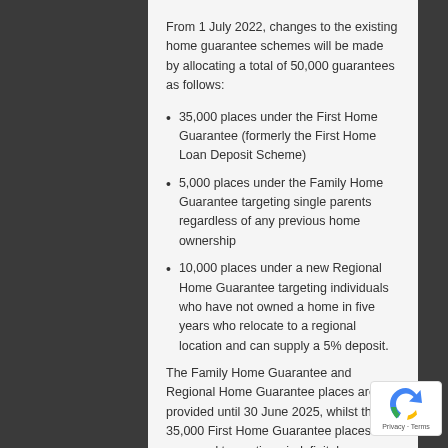From 1 July 2022, changes to the existing home guarantee schemes will be made by allocating a total of 50,000 guarantees as follows:
35,000 places under the First Home Guarantee (formerly the First Home Loan Deposit Scheme)
5,000 places under the Family Home Guarantee targeting single parents regardless of any previous home ownership
10,000 places under a new Regional Home Guarantee targeting individuals who have not owned a home in five years who relocate to a regional location and can supply a 5% deposit.
The Family Home Guarantee and Regional Home Guarantee places are provided until 30 June 2025, whilst the 35,000 First Home Guarantee places are proposed to continue indefinitely.